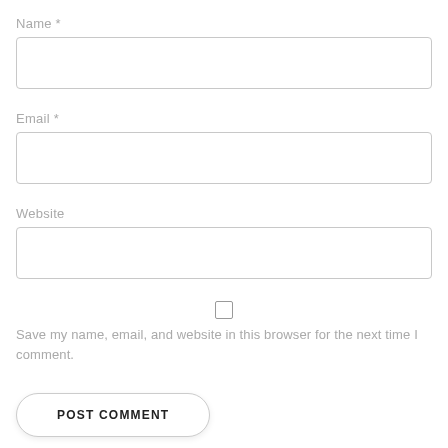Name *
[Figure (other): Empty text input field for Name]
Email *
[Figure (other): Empty text input field for Email]
Website
[Figure (other): Empty text input field for Website]
[Figure (other): Checkbox (unchecked)]
Save my name, email, and website in this browser for the next time I comment.
POST COMMENT